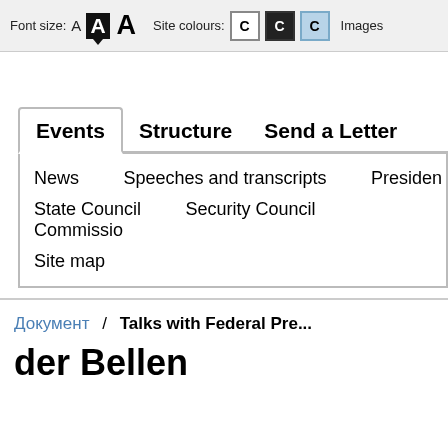Font size: A A A  Site colours: C C C  Images
Events  Structure  Send a Letter
News  Speeches and transcripts  Presiden...
State Council  Security Council  Commissio...
Site map
Документ / Talks with Federal Pre... der Bellen